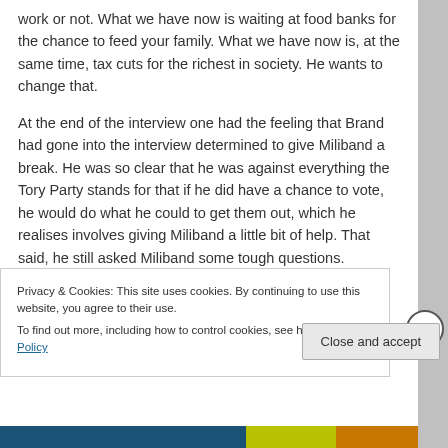work or not. What we have now is waiting at food banks for the chance to feed your family. What we have now is, at the same time, tax cuts for the richest in society. He wants to change that.
At the end of the interview one had the feeling that Brand had gone into the interview determined to give Miliband a break. He was so clear that he was against everything the Tory Party stands for that if he did have a chance to vote, he would do what he could to get them out, which he realises involves giving Miliband a little bit of help. That said, he still asked Miliband some tough questions.
Privacy & Cookies: This site uses cookies. By continuing to use this website, you agree to their use.
To find out more, including how to control cookies, see here: Cookie Policy
Close and accept